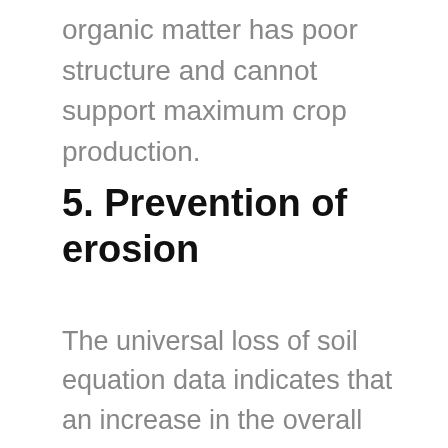organic matter has poor structure and cannot support maximum crop production.
5. Prevention of erosion
The universal loss of soil equation data indicates that an increase in the overall decomposed soil organic matter from a percentage of one to three reduces erosion by